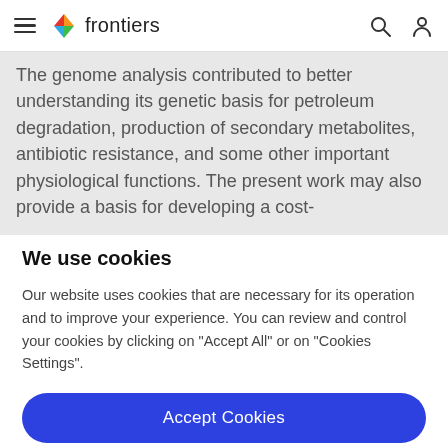frontiers
The genome analysis contributed to better understanding its genetic basis for petroleum degradation, production of secondary metabolites, antibiotic resistance, and some other important physiological functions. The present work may also provide a basis for developing a cost-
We use cookies
Our website uses cookies that are necessary for its operation and to improve your experience. You can review and control your cookies by clicking on "Accept All" or on "Cookies Settings".
Accept Cookies
Cookies Settings